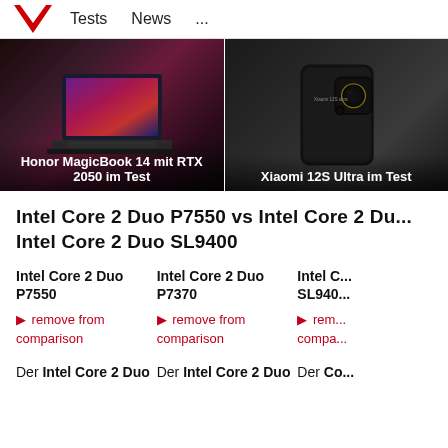Tests  News  ...
[Figure (photo): Honor MagicBook 14 mit RTX 2050 im Test - laptop product photo]
[Figure (photo): Xiaomi 12S Ultra im Test - smartphone product photo]
Honor MagicBook 14 mit RTX 2050 im Test
Xiaomi 12S Ultra im Test
Intel Core 2 Duo P7550 vs Intel Core 2 Du... Intel Core 2 Duo SL9400
Intel Core 2 Duo P7550
Intel Core 2 Duo P7370
Intel C... SL940...
► remove from comparison
► remove from comparison
► rem... compa...
Der Intel Core 2 Duo
Der Intel Core 2 Duo
Der Co...